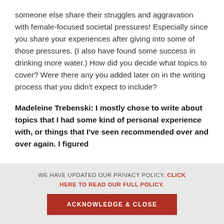someone else share their struggles and aggravation with female-focused societal pressures! Especially since you share your experiences after giving into some of those pressures. (I also have found some success in drinking more water.) How did you decide what topics to cover? Were there any you added later on in the writing process that you didn't expect to include?
Madeleine Trebenski: I mostly chose to write about topics that I had some kind of personal experience with, or things that I've seen recommended over and over again. I figured
WE HAVE UPDATED OUR PRIVACY POLICY. CLICK HERE TO READ OUR FULL POLICY.
ACKNOWLEDGE & CLOSE